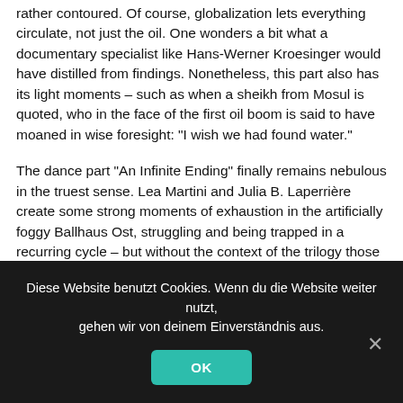rather contoured. Of course, globalization lets everything circulate, not just the oil. One wonders a bit what a documentary specialist like Hans-Werner Kroesinger would have distilled from findings. Nonetheless, this part also has its light moments – such as when a sheikh from Mosul is quoted, who in the face of the first oil boom is said to have moaned in wise foresight: "I wish we had found water."
The dance part "An Infinite Ending" finally remains nebulous in the truest sense. Lea Martini and Julia B. Laperrière create some strong moments of exhaustion in the artificially foggy Ballhaus Ost, struggling and being trapped in a recurring cycle – but without the context of the trilogy those actions might ultimately fizzle out in perplexity. And yet, "Empire of Oil" has a clear message: to question one's own consumer behavior and, therefore, one's own dependence on the world's most desirable resource.
Diese Website benutzt Cookies. Wenn du die Website weiter nutzt, gehen wir von deinem Einverständnis aus.